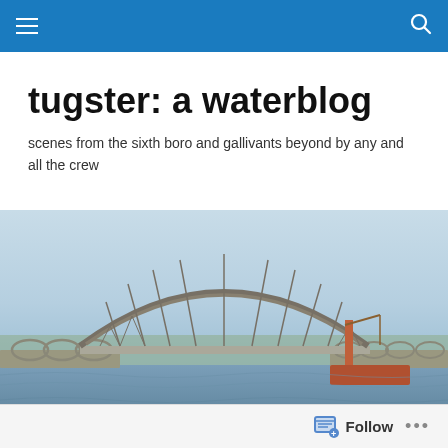tugster: a waterblog — navigation bar
tugster: a waterblog
scenes from the sixth boro and gallivants beyond by any and all the crew
[Figure (photo): Wide panoramic photograph of a large steel arch bridge over water with blue sky. The bridge has a tall arched truss structure with vertical suspenders. Waterway visible below with a construction barge and crane on the right side. Green trees visible in the background.]
DAILY ARCHIVES: MARCH 24, 2012
Panama Details 1
Follow